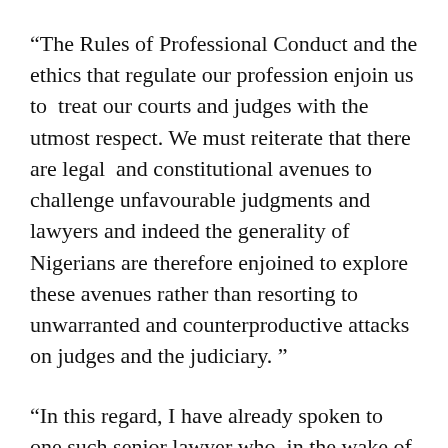“The Rules of Professional Conduct and the ethics that regulate our profession enjoin us to treat our courts and judges with the utmost respect. We must reiterate that there are legal and constitutional avenues to challenge unfavourable judgments and lawyers and indeed the generality of Nigerians are therefore enjoined to explore these avenues rather than resorting to unwarranted and counterproductive attacks on judges and the judiciary. ”
“In this regard, I have already spoken to one such senior lawyer who, in the wake of the judgment, is reported to have published certain derogatory…